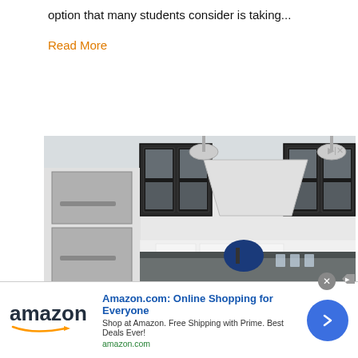option that many students consider is taking...
Read More
[Figure (photo): Kitchen interior with white cabinets, dark glass-front upper cabinets, stainless steel ovens, marble backsplash, and dark granite island countertop with kitchenware.]
Best Price in VA, DC, and MD
Huge Selection of Silestone, Cambria, Quartzite, and Granite. Licensed & Insured.
[Figure (logo): Amazon logo with smile arrow]
Amazon.com: Online Shopping for Everyone
Shop at Amazon. Free Shipping with Prime. Best Deals Ever!
amazon.com